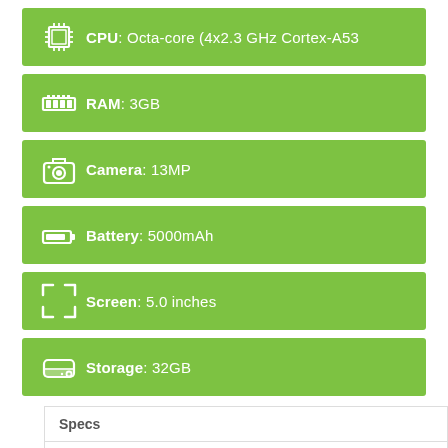CPU: Octa-core (4x2.3 GHz Cortex-A53
RAM: 3GB
Camera: 13MP
Battery: 5000mAh
Screen: 5.0 inches
Storage: 32GB
| Specs |
| Overview |
| Reviews |